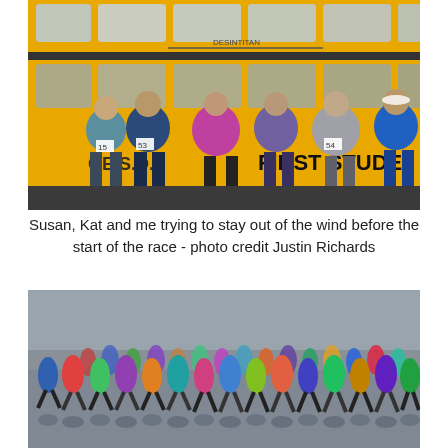[Figure (photo): Group of race participants standing in front of a yellow school bus labeled 'FIRST STUDE' and 'GE S.D.' wearing running gear, backpacks and bibs, in cold/windy weather.]
Susan, Kat and me trying to stay out of the wind before the start of the race - photo credit Justin Richards
[Figure (photo): Large crowd of runners at the start of a beach race, running on wet sandy/reflective tidal flats with overcast skies.]